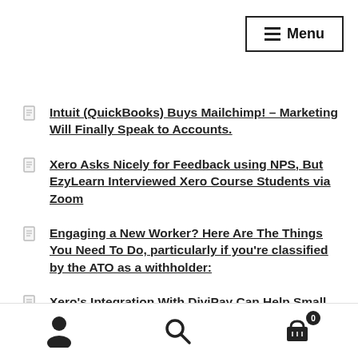Menu
Intuit (QuickBooks) Buys Mailchimp! – Marketing Will Finally Speak to Accounts.
Xero Asks Nicely for Feedback using NPS, But EzyLearn Interviewed Xero Course Students via Zoom
Engaging a New Worker? Here Are The Things You Need To Do, particularly if you're classified by the ATO as a withholder:
Xero's Integration With DiviPay Can Help Small Businesses Manage Expenses
Could This Free Social Media Promotion Work For Your Bookkeeping or Virtual Assistant Business?
CommBank and Xero Integration to Help Small Businesses…